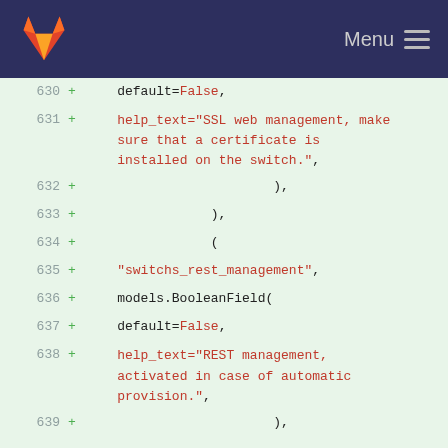[Figure (screenshot): GitLab navigation bar with orange fox logo and Menu hamburger icon on dark navy background]
630 +     default=False,
631 +     help_text="SSL web management, make sure that a certificate is installed on the switch.",
632 +                         ),
633 +                 ),
634 +                 (
635 +     "switchs_rest_management",
636 +     models.BooleanField(
637 +     default=False,
638 +     help_text="REST management, activated in case of automatic provision.",
639 +                         ),